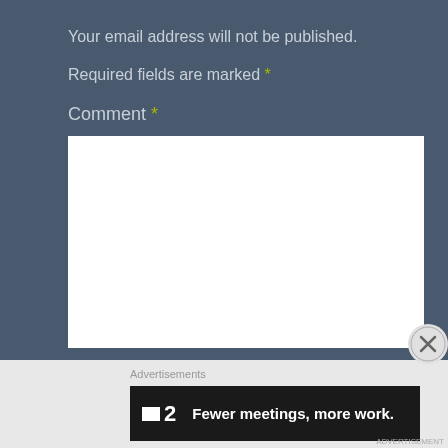Your email address will not be published.
Required fields are marked *
Comment *
[Figure (other): White comment text input area (textarea form field)]
[Figure (other): Close button (X circle) overlay]
Advertisements
[Figure (other): Advertisement banner: F2 logo with text 'Fewer meetings, more work.']